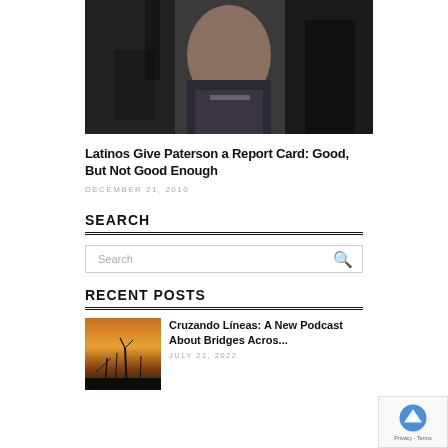[Figure (photo): A man in a suit and tie being filmed by a camera crew, shown from the chest up in an outdoor setting.]
Latinos Give Paterson a Report Card: Good, But Not Good Enough
DECEMBER 21, 2010
SEARCH
Search
RECENT POSTS
[Figure (photo): Thumbnail image of a twilight or sunset landscape with silhouetted grass or plants against an orange sky.]
Cruzando Líneas: A New Podcast About Bridges Acros...
JULY 21, 2022